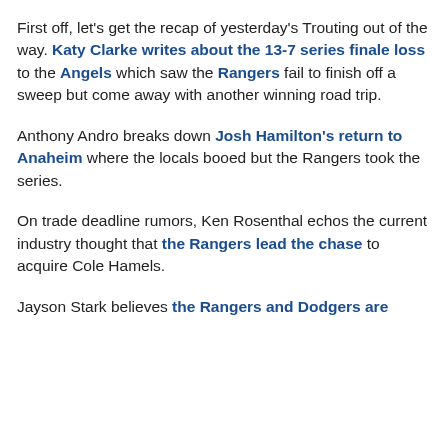First off, let's get the recap of yesterday's Trouting out of the way. Katy Clarke writes about the 13-7 series finale loss to the Angels which saw the Rangers fail to finish off a sweep but come away with another winning road trip.
Anthony Andro breaks down Josh Hamilton's return to Anaheim where the locals booed but the Rangers took the series.
On trade deadline rumors, Ken Rosenthal echos the current industry thought that the Rangers lead the chase to acquire Cole Hamels.
Jayson Stark believes the Rangers and Dodgers are